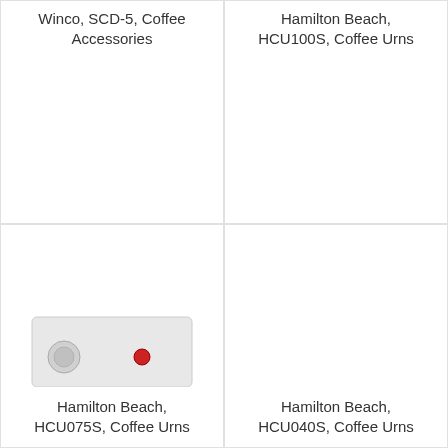Winco, SCD-5, Coffee Accessories
[Figure (photo): Product image placeholder - white/blank area for Winco SCD-5 Coffee Accessories]
Hamilton Beach, HCU100S, Coffee Urns
[Figure (photo): Product image placeholder - white/blank area for Hamilton Beach HCU100S Coffee Urns]
Hamilton Beach, HCU075S, Coffee Urns
[Figure (photo): Product image placeholder - white/blank area for Hamilton Beach HCU075S Coffee Urns]
Hamilton Beach, HCU040S, Coffee Urns
[Figure (photo): Product image placeholder - white/blank area for Hamilton Beach HCU040S Coffee Urns]
[Figure (photo): Partial product image visible at bottom-left: a white/silver rectangular appliance with a round gauge and a red indicator light, partially cropped]